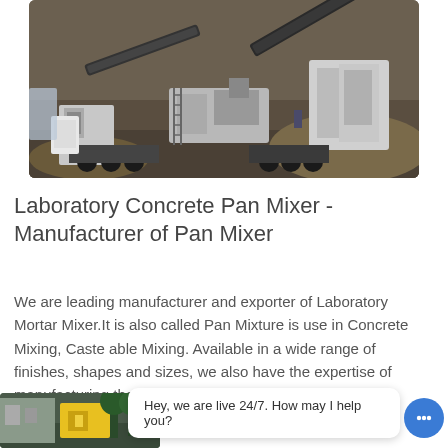[Figure (photo): Aerial view of a mobile concrete crushing and processing plant with conveyor belts, machinery, and trucks on a dirt site]
Laboratory Concrete Pan Mixer - Manufacturer of Pan Mixer
We are leading manufacturer and exporter of Laboratory Mortar Mixer.It is also called Pan Mixture is use in Concrete Mixing, Caste able Mixing. Available in a wide range of finishes, shapes and sizes, we also have the expertise of manufacturing them in custom designs as
Learn More
[Figure (photo): Partial view of yellow industrial equipment or machine outdoors]
Hey, we are live 24/7. How may I help you?